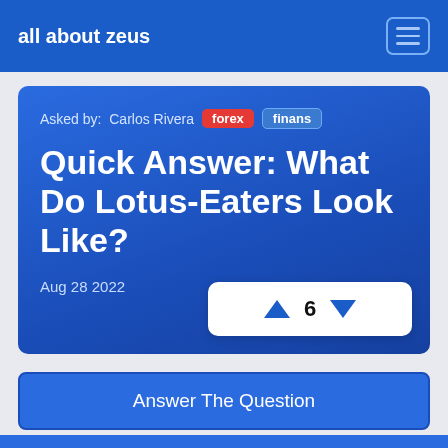all about zeus
Asked by: Carlos Rivera  forex  finans
Quick Answer: What Do Lotus-Eaters Look Like?
Aug 28 2022
▲ 6 ▼
Answer The Question